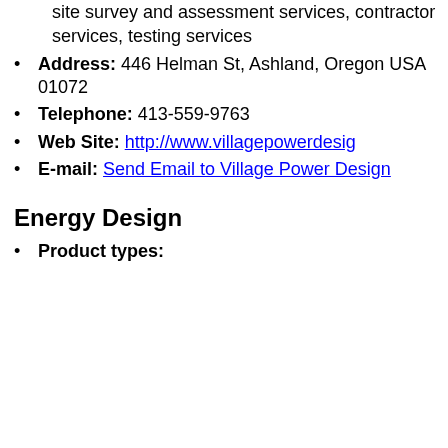site survey and assessment services, contractor services, testing services
Address: 446 Helman St, Ashland, Oregon USA 01072
Telephone: 413-559-9763
Web Site: http://www.villagepowerdesig
E-mail: Send Email to Village Power Design
Energy Design
Product types: